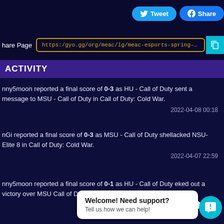[Figure (screenshot): Social share buttons: Tweet (Twitter/blue) and Share (Facebook/blue)]
https://gyo.gg/org/meac/lg/meac-esports-spring-1642534475/seas...
ACTIVITY
nny5moon reported a final score of 0-3 as HU - Call of Duty sent a message to MSU - Call of Duty in Call of Duty: Cold War.
2022-04-08 00:18
nGi reported a final score of 0-3 as MSU - Call of Duty shellacked NSU-Elite 8 in Call of Duty: Cold War.
2022-04-07 22:59
nny5moon reported a final score of 0-1 as HU - Call of Duty eked out a victory over MSU Call of Duty - Spring 2022 in C...
2022-0...11
Welcome! Need support?
Tell us how we can help!